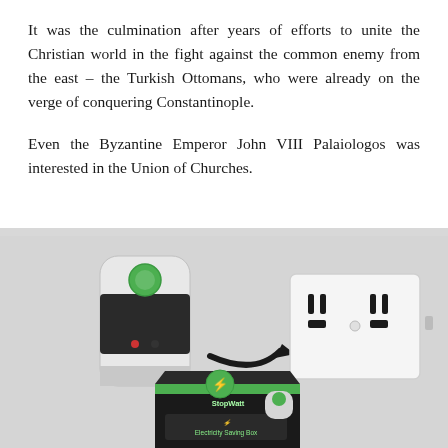It was the culmination after years of efforts to unite the Christian world in the fight against the common enemy from the east – the Turkish Ottomans, who were already on the verge of conquering Constantinople.
Even the Byzantine Emperor John VIII Palaiologos was interested in the Union of Churches.
[Figure (photo): Product photo showing a plug-in electricity saving device next to a wall outlet with an arrow pointing from the device to the outlet, and below it a product box labeled 'Electricity Saving Box']